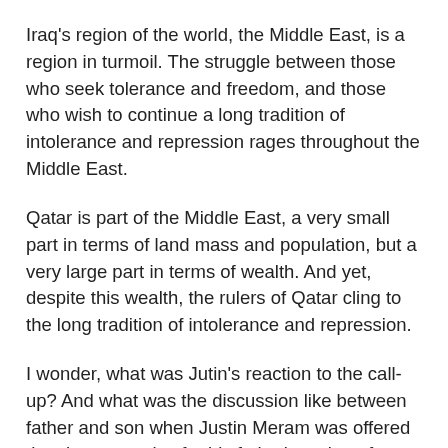Iraq's region of the world, the Middle East, is a region in turmoil. The struggle between those who seek tolerance and freedom, and those who wish to continue a long tradition of intolerance and repression rages throughout the Middle East.
Qatar is part of the Middle East, a very small part in terms of land mass and population, but a very large part in terms of wealth. And yet, despite this wealth, the rulers of Qatar cling to the long tradition of intolerance and repression.
I wonder, what was Jutin's reaction to the call-up? And what was the discussion like between father and son when Justin Meram was offered the chance to play for his father's nation of birth? For a glimpse of what may have transpired read this story from www.clickondetroit.com and Kelly Haapala. While there is no mention of Meram's interaction with his father, Justin's own excitement tells you a lot about what playing for Iraq means to him.
Justin's story is an example of the positive product that can